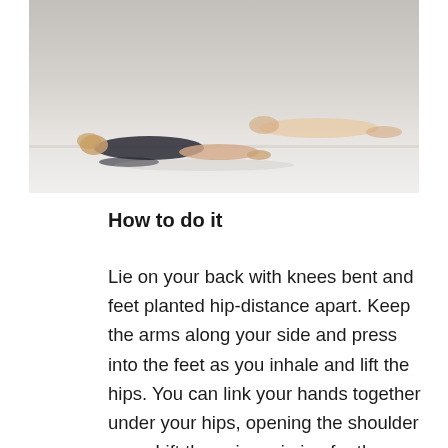[Figure (photo): Two people lying on the floor performing a yoga/exercise pose (bridge pose), photographed from above on a light grey background. One person is in the foreground with a dark top, another is visible in the background.]
How to do it
Lie on your back with knees bent and feet planted hip-distance apart. Keep the arms along your side and press into the feet as you inhale and lift the hips. You can link your hands together under your hips, opening the shoulder area. Lift the spine, aiming for the chest to meet the chin. Keep the breath deep and steady. Focus on keeping the feet planted firmly and the quadriceps engaged. This can